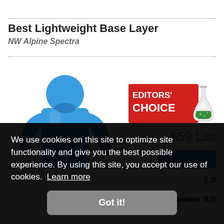Best Lightweight Base Layer
NW Alpine Spectra
[Figure (photo): Blue long-sleeve athletic base layer shirt on white background]
[Figure (logo): Editors' Choice badge with red background and flask icon]
$59 List
5.0
9.0
We use cookies on this site to optimize site functionality and give you the best possible experience. By using this site, you accept our use of cookies. Learn more
Got it!